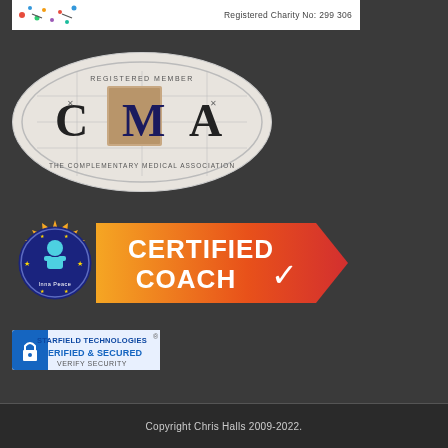[Figure (logo): Top charity badge strip with colorful dots/figure icon on left and 'Registered Charity No: 299 306' text on right, white background]
[Figure (logo): CMA - The Complementary Medical Association Registered Member oval badge with large C M A letters and architectural drawing background]
[Figure (logo): Inna Peace Certified Coach badge: circular dark blue seal with figure icon on left, orange/yellow gradient ribbon banner reading CERTIFIED COACH with checkmark on right]
[Figure (logo): Starfield Technologies Verified & Secured badge with lock icon, blue and white colors, Verify Security text, registered trademark symbol]
Copyright Chris Halls 2009-2022.